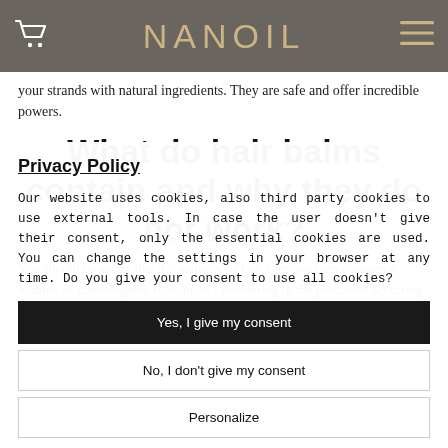NANOIL
your strands with natural ingredients. They are safe and offer incredible powers.
What do hair balms contain and why they do not work?
You should be aware that the majority of hair care products contains a number of comedogenic substances - interfering in the processes occurring on the surface of the skin. Additionally, there are the heavy
Privacy Policy
Our website uses cookies, also third party cookies to use external tools. In case the user doesn't give their consent, only the essential cookies are used. You can change the settings in your browser at any time. Do you give your consent to use all cookies?
Yes, I give my consent
No, I don't give my consent
Personalize